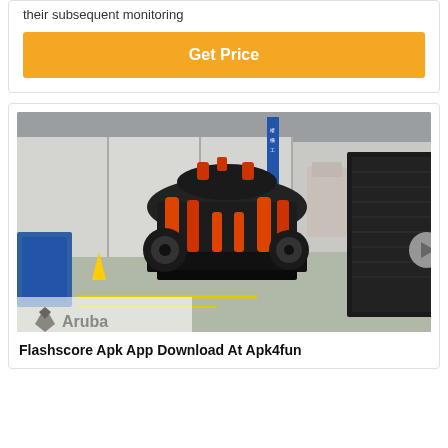their subsequent monitoring
Get Price
[Figure (photo): Industrial factory floor showing large cone crusher machinery (black and orange) in a manufacturing facility. An 'Aruba' logo watermark is visible in the bottom-left corner.]
Flashscore Apk App Download At Apk4fun